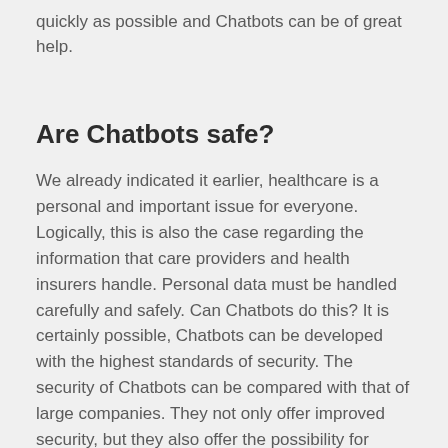quickly as possible and Chatbots can be of great help.
Are Chatbots safe?
We already indicated it earlier, healthcare is a personal and important issue for everyone. Logically, this is also the case regarding the information that care providers and health insurers handle. Personal data must be handled carefully and safely. Can Chatbots do this? It is certainly possible, Chatbots can be developed with the highest standards of security. The security of Chatbots can be compared with that of large companies. They not only offer improved security, but they also offer the possibility for...